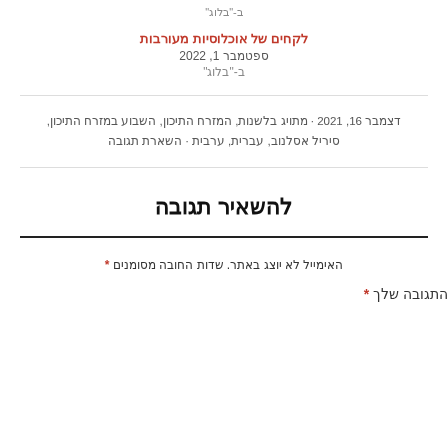ב-"בלוג"
לקחים של אוכלוסיות מעורבות
ספטמבר 1, 2022
ב-"בלוג"
דצמבר 16, 2021 · מתויג בלשנות, המזרח התיכון, השבוע במזרח התיכון, סיריל אסלנוב, עברית, ערבית · השארת תגובה
להשאיר תגובה
* שדות החובה מסומנים האימייל לא יוצג באתר.
התגובה שלך *